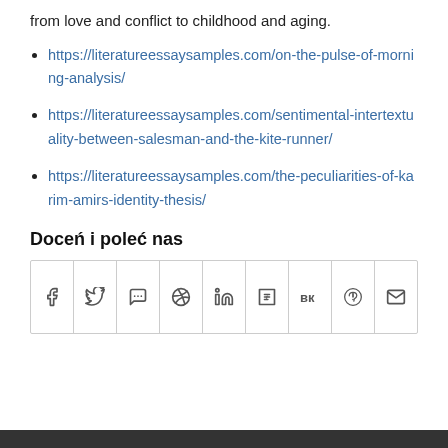from love and conflict to childhood and aging.
https://literatureessaysamples.com/on-the-pulse-of-morning-analysis/
https://literatureessaysamples.com/sentimental-intertextuality-between-salesman-and-the-kite-runner/
https://literatureessaysamples.com/the-peculiarities-of-karim-amirs-identity-thesis/
Doceń i poleć nas
[Figure (other): Social share buttons row: Facebook, Twitter, WhatsApp, Pinterest, LinkedIn, Tumblr, VK, Reddit, Email]